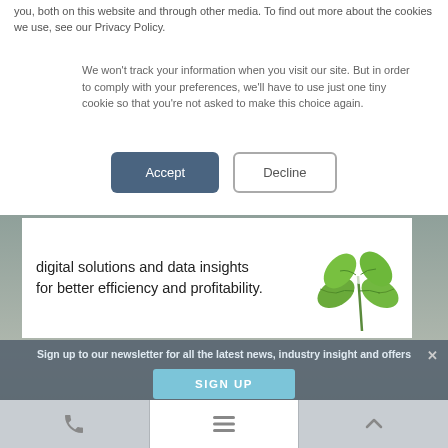you, both on this website and through other media. To find out more about the cookies we use, see our Privacy Policy.
We won't track your information when you visit our site. But in order to comply with your preferences, we'll have to use just one tiny cookie so that you're not asked to make this choice again.
Accept | Decline
digital solutions and data insights for better efficiency and profitability.
[Figure (illustration): Green four-leaf clover plant illustration]
Sign up to our newsletter for all the latest news, industry insight and offers
SIGN UP
[Figure (infographic): Bottom navigation icon bar with phone, menu, and chevron-up icons]